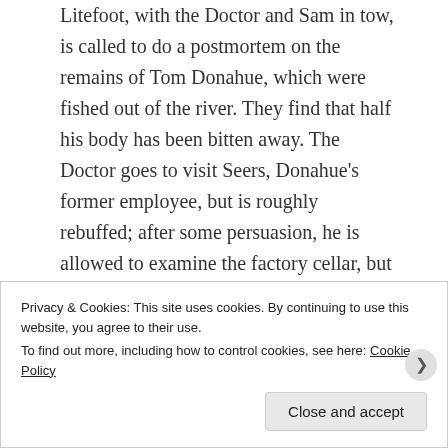Litefoot, with the Doctor and Sam in tow, is called to do a postmortem on the remains of Tom Donahue, which were fished out of the river. They find that half his body has been bitten away. The Doctor goes to visit Seers, Donahue's former employee, but is roughly rebuffed; after some persuasion, he is allowed to examine the factory cellar, but finds nothing as yet. On his way out, he encounters Emmeline, who is here to confront her father. She, too, is rebuffed; the Doctor tells her where to find him should anything come up. Seers sends his men to investigate the Doctor. That night, the Doctor, Litefoot, and Sam break into the factory. In the cellar,
Privacy & Cookies: This site uses cookies. By continuing to use this website, you agree to their use.
To find out more, including how to control cookies, see here: Cookie Policy
Close and accept